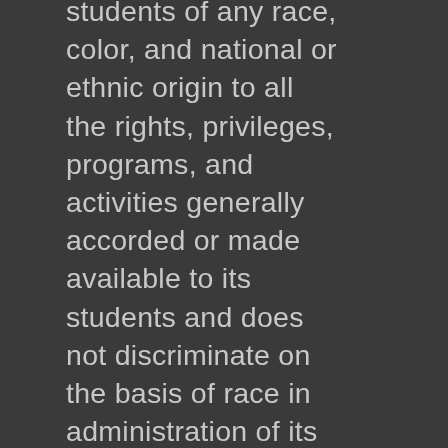students of any race, color, and national or ethnic origin to all the rights, privileges, programs, and activities generally accorded or made available to its students and does not discriminate on the basis of race in administration of its educational policies, admission policies, or athletic and other school-administered programs.
View More...